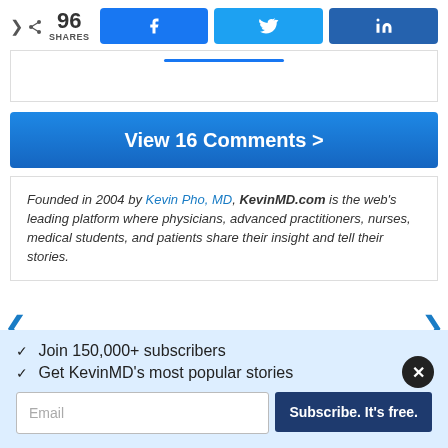96 SHARES | Facebook | Twitter | LinkedIn
[Figure (other): Horizontal blue divider line inside a bordered box]
View 16 Comments >
Founded in 2004 by Kevin Pho, MD, KevinMD.com is the web's leading platform where physicians, advanced practitioners, nurses, medical students, and patients share their insight and tell their stories.
✓ Join 150,000+ subscribers
✓ Get KevinMD's most popular stories
Email | Subscribe. It's free.